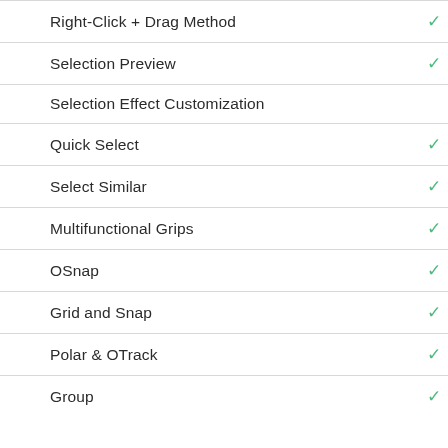| Feature | Available |
| --- | --- |
| Right-Click + Drag Method | ✓ |
| Selection Preview | ✓ |
| Selection Effect Customization |  |
| Quick Select | ✓ |
| Select Similar | ✓ |
| Multifunctional Grips | ✓ |
| OSnap | ✓ |
| Grid and Snap | ✓ |
| Polar & OTrack | ✓ |
| Group | ✓ |